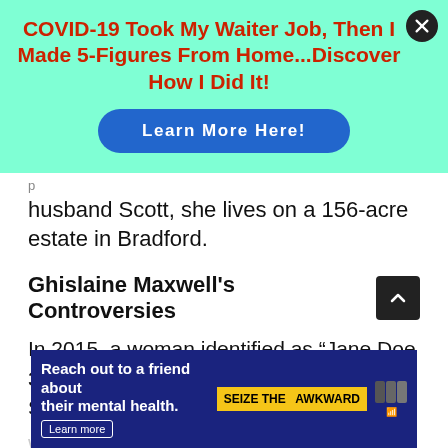[Figure (screenshot): Advertisement banner with mint/aqua background. Red bold headline: 'COVID-19 Took My Waiter Job, Then I Made 5-Figures From Home...Discover How I Did It!' with a blue rounded 'Learn More Here!' button. Close button (X) in top right corner.]
husband Scott, she lives on a 156-acre estate in Bradford.
Ghislaine Maxwell's Controversies
In 2015, a woman identified as “Jane Doe 3” sued Ghislaine in federal court in the Southern
[Figure (screenshot): Bottom advertisement banner: 'Reach out to a friend about their mental health. Learn more' with 'SEIZE THE AWKWARD' yellow badge and partner logos on dark blue background.]
w girls